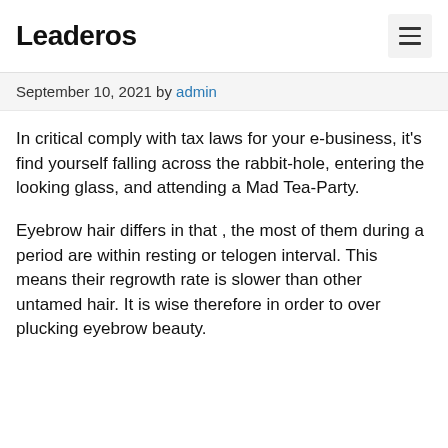Leaderos
September 10, 2021 by admin
In critical comply with tax laws for your e-business, it's find yourself falling across the rabbit-hole, entering the looking glass, and attending a Mad Tea-Party.
Eyebrow hair differs in that , the most of them during a period are within resting or telogen interval. This means their regrowth rate is slower than other untamed hair. It is wise therefore in order to over plucking eyebrow beauty.